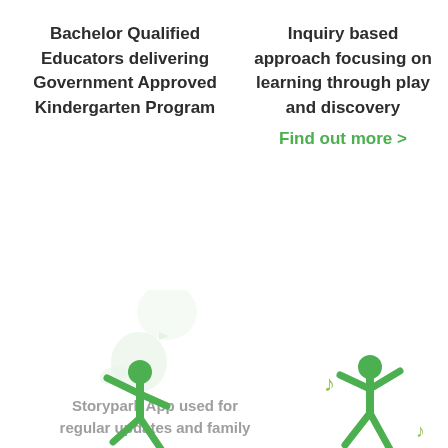Bachelor Qualified Educators delivering Government Approved Kindergarten Program
Inquiry based approach focusing on learning through play and discovery Find out more >
[Figure (illustration): Faded green Storypark duck/bird logo with speech bubble, watermark style]
Storypark App used for regular updates and family
[Figure (illustration): Green running/jumping child figure icon on left]
[Figure (illustration): Green running child figure icon with musical notes on right]